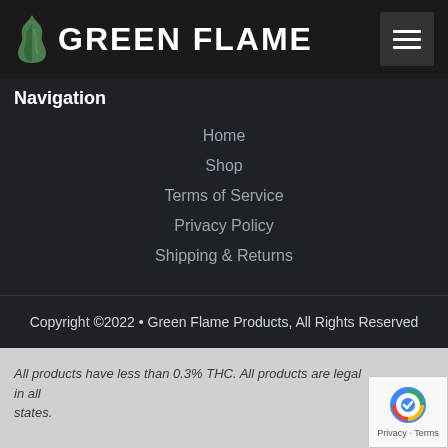GREEN FLAME
Navigation
Home
Shop
Terms of Service
Privacy Policy
Shipping & Returns
Copyright ©2022 • Green Flame Products, All Rights Reserved
All products have less than 0.3% THC. All products are legal in all states.